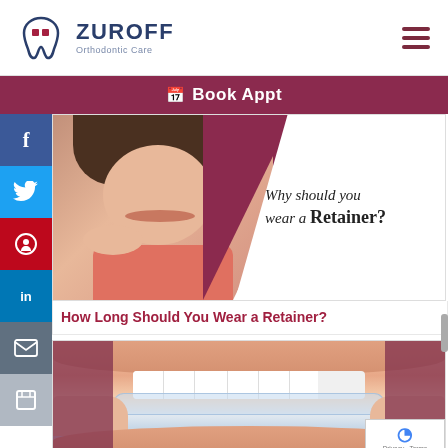[Figure (logo): Zuroff Orthodontic Care logo with stylized tooth icon]
Book Appt
[Figure (photo): Smiling young girl with text overlay: Why should you wear a Retainer?]
How Long Should You Wear a Retainer?
[Figure (photo): Close-up of person inserting a clear dental retainer/aligner]